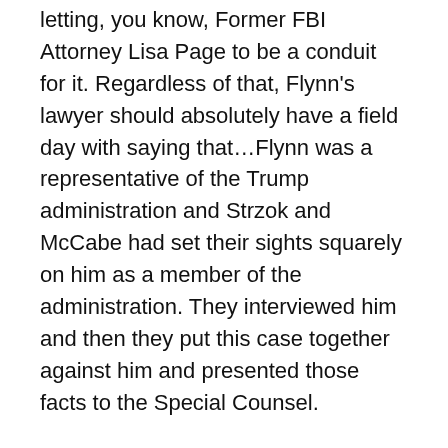letting, you know, Former FBI Attorney Lisa Page to be a conduit for it. Regardless of that, Flynn's lawyer should absolutely have a field day with saying that…Flynn was a representative of the Trump administration and Strzok and McCabe had set their sights squarely on him as a member of the administration. They interviewed him and then they put this case together against him and presented those facts to the Special Counsel.
So, if they didn't think he lied, how did they get him to admit guilt and accuse him of lying in the end?
It's a dangerous charge and easy to use… one that is a difficult rap to escape.
And it could start from anything during the questioning that doesn't exactly line up. They would question Flynn on the number of times he had contact with a Russian…